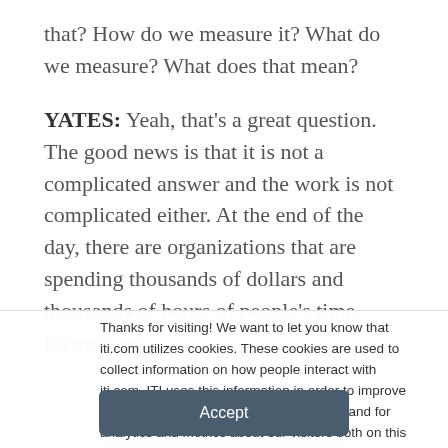that? How do we measure it? What do we measure? What does that mean?
YATES: Yeah, that's a great question. The good news is that it is not a complicated answer and the work is not complicated either. At the end of the day, there are organizations that are spending thousands of dollars and thousands of hours of people's time focused on
Thanks for visiting! We want to let you know that iti.com utilizes cookies. These cookies are used to collect information on how people interact with iti.com. ITI uses this information in order to improve and customize your browsing experience and for analytics and metrics about our visitors both on this website and other media. To find out more about the cookies we use, see our Privacy Policy.
Accept